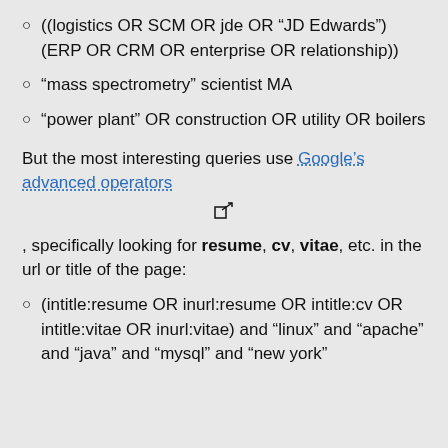((logistics OR SCM OR jde OR “JD Edwards”) (ERP OR CRM OR enterprise OR relationship))
“mass spectrometry” scientist MA
“power plant” OR construction OR utility OR boilers
But the most interesting queries use Google’s advanced operators
, specifically looking for resume, cv, vitae, etc. in the url or title of the page:
(intitle:resume OR inurl:resume OR intitle:cv OR intitle:vitae OR inurl:vitae) and “linux” and “apache” and “java” and “mysql” and “new york”